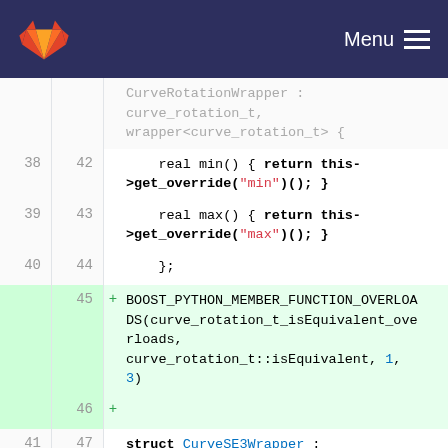GitLab — Menu
[Figure (screenshot): GitLab code diff view showing C++ code with additions, line numbers on left (old/new), monospace font on white/green background.]
CurveRotationWrapper : curve_rotation_t, wrapper<curve_rotation_t> {
38 42    real min() { return this->get_override("min")(); }
39 43    real max() { return this->get_override("max")(); }
40 44    };
+ BOOST_PYTHON_MEMBER_FUNCTION_OVERLOADS(curve_rotation_t_isEquivalent_overloads, curve_rotation_t::isEquivalent, 1, 3)
46 +
41 47    struct CurveSE3Wrapper : curve_SE3_t, wrapper<curve_SE3_t> {
42 48    point_t operator()(const real) { return this->get_override("operator()")(); }
43 49    point_t derivate(const real, const